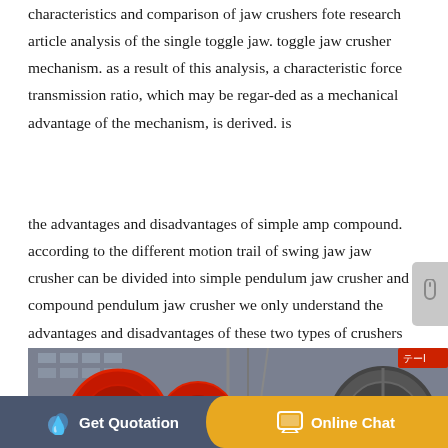characteristics and comparison of jaw crushers fote research article analysis of the single toggle jaw. toggle jaw crusher mechanism. as a result of this analysis, a characteristic force transmission ratio, which may be regar-ded as a mechanical advantage of the mechanism, is derived. is
the advantages and disadvantages of simple amp compound. according to the different motion trail of swing jaw jaw crusher can be divided into simple pendulum jaw crusher and compound pendulum jaw crusher we only understand the advantages and disadvantages of these two types of crushers can select the right crusher
[Figure (photo): Industrial jaw crusher machinery photo showing large red circular components and a dark flywheel against a building background]
Get Quotation   Online Chat